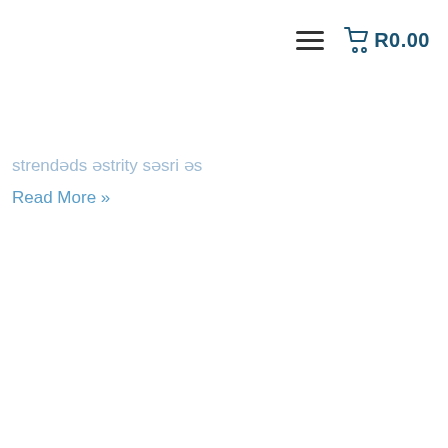≡  R0.00
strendəds əstrity səsri əs
Read More »